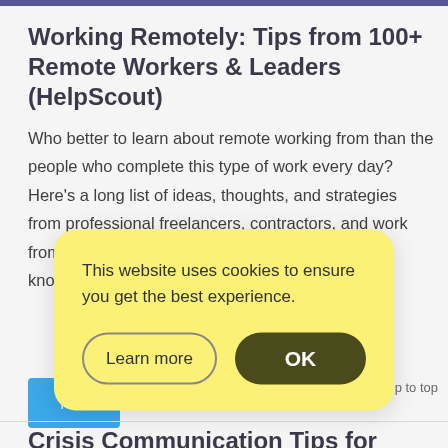Working Remotely: Tips from 100+ Remote Workers & Leaders (HelpScout)
Who better to learn about remote working from than the people who complete this type of work every day? Here's a long list of ideas, thoughts, and strategies from professional freelancers, contractors, and work from home warriors who have the experience and knowl…
[Figure (screenshot): Cookie consent popup with yellow background. Text: 'This website uses cookies to ensure you get the best experience.' Two buttons: 'Learn more' (outlined) and 'OK' (dark olive filled).]
Crisis Communication Tips for Customer